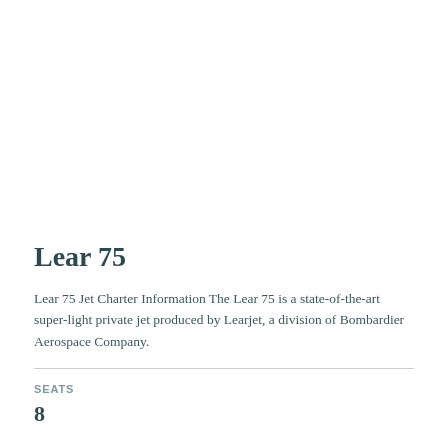Lear 75
Lear 75 Jet Charter Information The Lear 75 is a state-of-the-art super-light private jet produced by Learjet, a division of Bombardier Aerospace Company.
SEATS
8